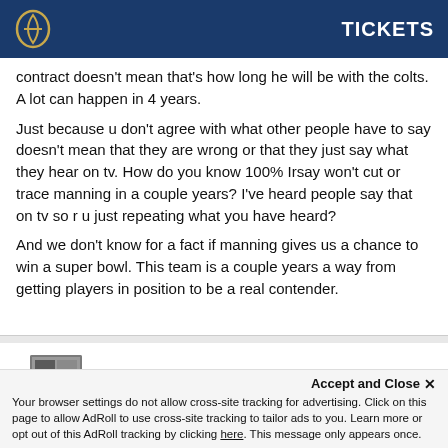TICKETS
contract doesn't mean that's how long he will be with the colts. A lot can happen in 4 years.
Just because u don't agree with what other people have to say doesn't mean that they are wrong or that they just say what they hear on tv. How do you know 100% Irsay won't cut or trace manning in a couple years? I've heard people say that on tv so r u just repeating what you have heard?
And we don't know for a fact if manning gives us a chance to win a super bowl. This team is a couple years a way from getting players in position to be a real contender.
Case
Posted January 12, 2012
Accept and Close ✕
Your browser settings do not allow cross-site tracking for advertising. Click on this page to allow AdRoll to use cross-site tracking to tailor ads to you. Learn more or opt out of this AdRoll tracking by clicking here. This message only appears once.